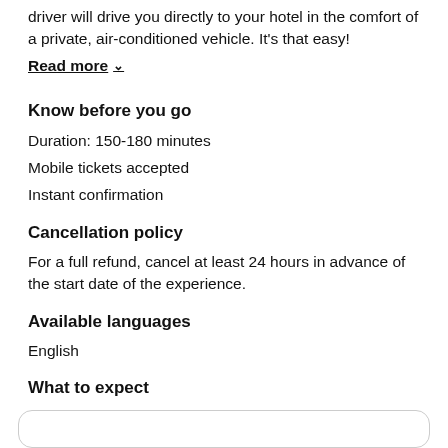driver will drive you directly to your hotel in the comfort of a private, air-conditioned vehicle. It's that easy!
Read more ∨
Know before you go
Duration: 150-180 minutes
Mobile tickets accepted
Instant confirmation
Cancellation policy
For a full refund, cancel at least 24 hours in advance of the start date of the experience.
Available languages
English
What to expect